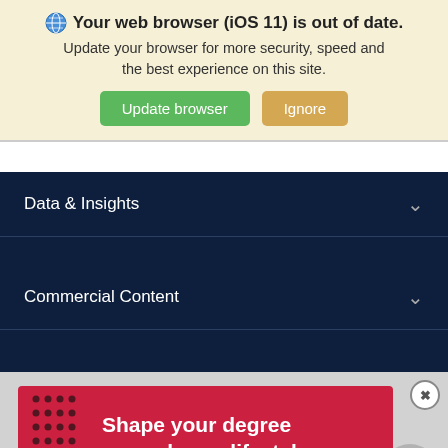🌐 Your web browser (iOS 11) is out of date. Update your browser for more security, speed and the best experience on this site.
Update browser | Ignore
Data & Insights
Commercial Content
[Figure (screenshot): Red advertisement banner: 'Shape your degree around your lifestyle' with decorative dot pattern on left side]
Top